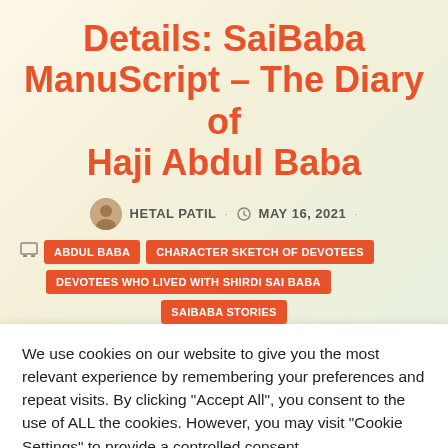Details: SaiBaba ManuScript – The Diary of Haji Abdul Baba
HETAL PATIL · MAY 16, 2021 ·
ABDUL BABA
CHARACTER SKETCH OF DEVOTEES
DEVOTEES WHO LIVED WITH SHIRDI SAI BABA
SAIBABA STORIES
We use cookies on our website to give you the most relevant experience by remembering your preferences and repeat visits. By clicking "Accept All", you consent to the use of ALL the cookies. However, you may visit "Cookie Settings" to provide a controlled consent.